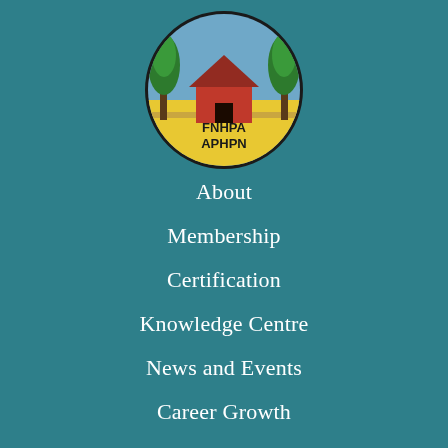[Figure (logo): FNHPA APHPN circular logo with a red house, green trees, blue background and yellow bottom half with the text FNHPA APHPN]
About
Membership
Certification
Knowledge Centre
News and Events
Career Growth
Keeper of My Home
Housing and Well...